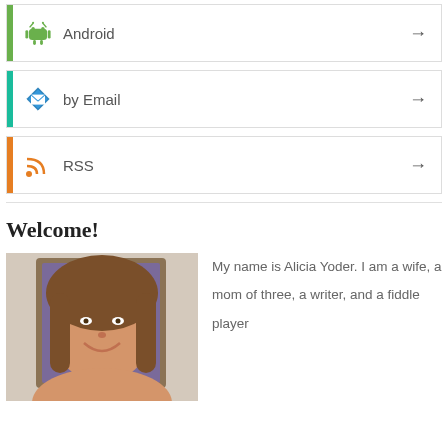Android
by Email
RSS
Welcome!
[Figure (photo): Portrait photo of Alicia Yoder, a smiling woman with long brown hair, standing in front of a framed mirror.]
My name is Alicia Yoder. I am a wife, a mom of three, a writer, and a fiddle player